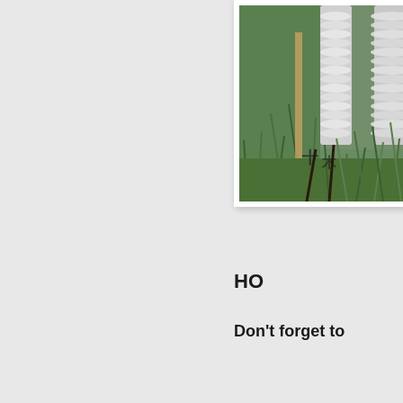[Figure (photo): A photo showing tall white cylindrical objects (possibly wrapped in white tape or bags) standing among green grass, viewed from ground level. The photo is mounted on a white card/mat with a slight drop shadow.]
HO
Don't forget to